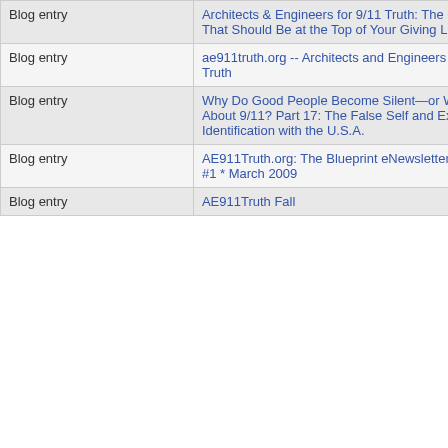| Type | Title | Author | Count | Date |
| --- | --- | --- | --- | --- |
| Blog entry | Architects & Engineers for 9/11 Truth: The Charity That Should Be at the Top of Your Giving List | ae911truth |  | 2011- |
| Blog entry | ae911truth.org -- Architects and Engineers for 9/11 Truth | ae911truth | 36 | 2007- |
| Blog entry | Why Do Good People Become Silent—or Worse—About 9/11? Part 17: The False Self and Excessive Identification with the U.S.A. | ae911truth |  | 2015- |
| Blog entry | AE911Truth.org: The Blueprint eNewsletter * Vol II, #1 * March 2009 | ae911truth | 3 | 2009- |
| Blog entry | AE911Truth Fall... | ae911truth | 7 | 2010- |
Twin Towers
Head of the FBI's Anthrax Investigation Says the Whole Thing Was a Sham
Tony Szam: On NIST's 9/11 Sins of